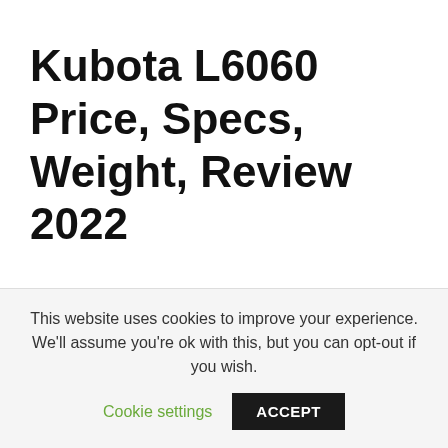Kubota L6060 Price, Specs, Weight, Review 2022
This website uses cookies to improve your experience. We'll assume you're ok with this, but you can opt-out if you wish.
Cookie settings
ACCEPT